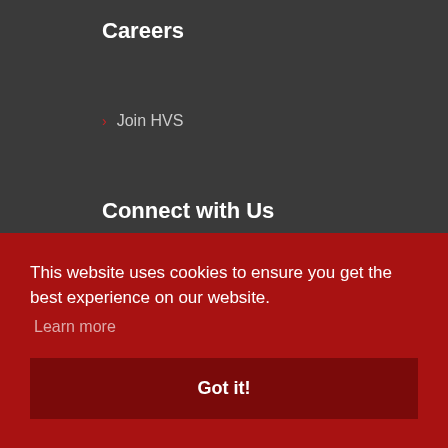Careers
› Join HVS
Connect with Us
› Contact Us
› Find Personnel
› Subscribe To Newsletter
This website uses cookies to ensure you get the best experience on our website.
Learn more
Got it!